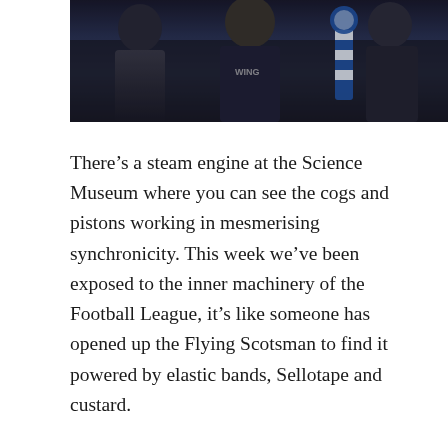[Figure (photo): Photograph of people wearing dark jackets and one person holding or wearing a blue and white football scarf, taken indoors in low light.]
There’s a steam engine at the Science Museum where you can see the cogs and pistons working in mesmerising synchronicity. This week we’ve been exposed to the inner machinery of the Football League, it’s like someone has opened up the Flying Scotsman to find it powered by elastic bands, Sellotape and custard.
The centrepiece of the whole affair is, of course, what to do with the rest of the season since its suspension in March, and specifically, what to do with League 1. Agent provocateurs in the saga are Peterborough United who will lose most if the season is brought to a premature end.